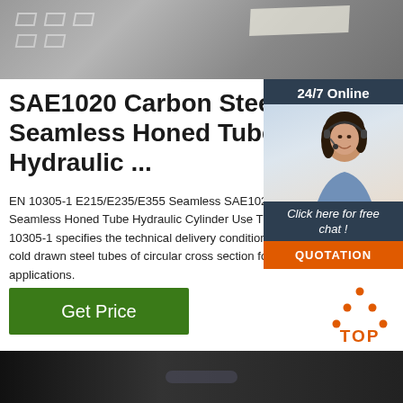[Figure (photo): Top photo of steel sheets/plates stacked, viewed from above, gray industrial setting]
SAE1020 Carbon Steel Seamless Honed Tube Hydraulic ...
[Figure (photo): Sidebar widget showing customer service representative with headset, dark blue background, '24/7 Online' header, 'Click here for free chat!' text, orange QUOTATION button]
EN 10305-1 E215/E235/E355 Seamless SAE1020 Carbon Steel Seamless Honed Tube Hydraulic Cylinder Use This Part of EN 10305-1 specifies the technical delivery conditions for seamless cold drawn steel tubes of circular cross section for precision applications.
Get Price
[Figure (logo): Orange TOP icon with dots arranged in triangle above the word TOP]
[Figure (photo): Bottom cropped photo, dark, showing steel tube or rod]